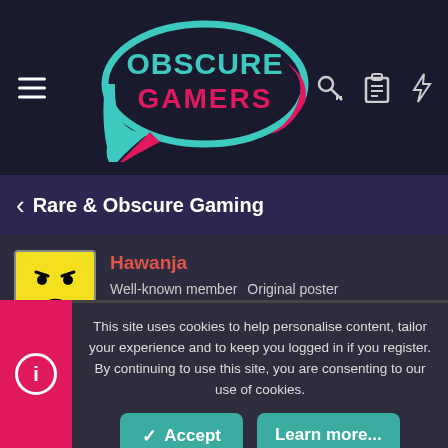Obscure Gamers
Rare & Obscure Gaming
Hawanja
Well-known member  Original poster  Registered
Mar 28, 2020  #1
What up folks. I figure if anyone would have info on this one it would be someone here.
This site uses cookies to help personalise content, tailor your experience and to keep you logged in if you register.
By continuing to use this site, you are consenting to our use of cookies.